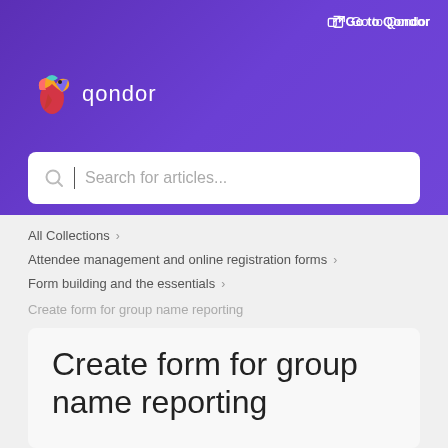[Figure (logo): Qondor help center header with purple gradient background, colorful bird logo, 'qondor' wordmark in white, search bar with placeholder 'Search for articles...']
Go to Qondor
All Collections
Attendee management and online registration forms
Form building and the essentials
Create form for group name reporting
Create form for group name reporting